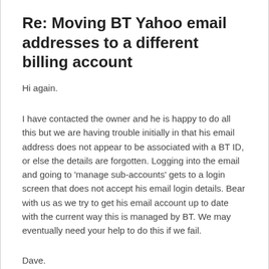Re: Moving BT Yahoo email addresses to a different billing account
Hi again.
I have contacted the owner and he is happy to do all this but we are having trouble initially in that his email address does not appear to be associated with a BT ID, or else the details are forgotten. Logging into the email and going to 'manage sub-accounts' gets to a login screen that does not accept his email login details. Bear with us as we try to get his email account up to date with the current way this is managed by BT. We may eventually need your help to do this if we fail.
Dave.